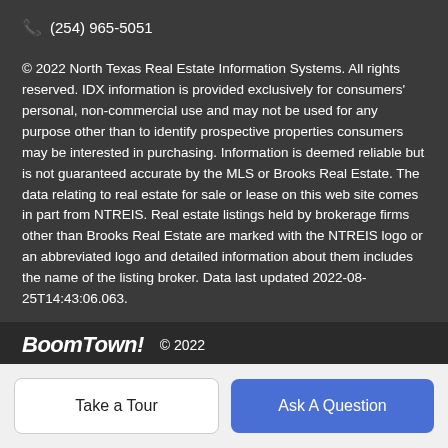📞 (254) 965-5051
© 2022 North Texas Real Estate Information Systems. All rights reserved. IDX information is provided exclusively for consumers' personal, non-commercial use and may not be used for any purpose other than to identify prospective properties consumers may be interested in purchasing. Information is deemed reliable but is not guaranteed accurate by the MLS or Brooks Real Estate. The data relating to real estate for sale or lease on this web site comes in part from NTREIS. Real estate listings held by brokerage firms other than Brooks Real Estate are marked with the NTREIS logo or an abbreviated logo and detailed information about them includes the name of the listing broker. Data last updated 2022-08-25T14:43:06.063.
BoomTown! © 2022
Take a Tour
Ask A Question